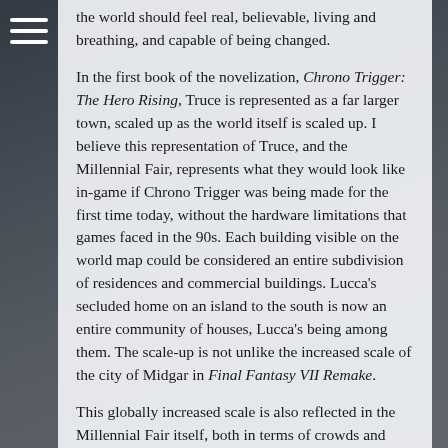the world should feel real, believable, living and breathing, and capable of being changed.
In the first book of the novelization, Chrono Trigger: The Hero Rising, Truce is represented as a far larger town, scaled up as the world itself is scaled up. I believe this representation of Truce, and the Millennial Fair, represents what they would look like in-game if Chrono Trigger was being made for the first time today, without the hardware limitations that games faced in the 90s. Each building visible on the world map could be considered an entire subdivision of residences and commercial buildings. Lucca's secluded home on an island to the south is now an entire community of houses, Lucca's being among them. The scale-up is not unlike the increased scale of the city of Midgar in Final Fantasy VII Remake.
This globally increased scale is also reflected in the Millennial Fair itself, both in terms of crowds and activities the visitors take part in. But to find out how it all plays out for yourself, you'll have to become a beta